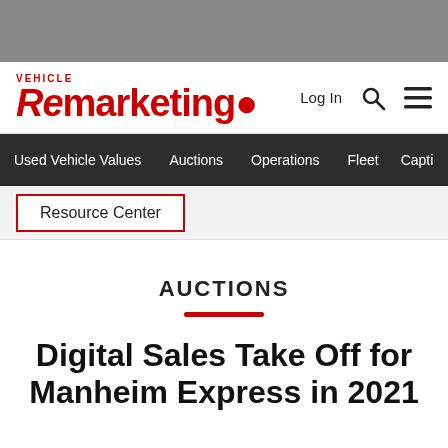[Figure (logo): Vehicle Remarketing logo in red with VEHICLE text above and Remarketing in large bold font]
Log In
Used Vehicle Values | Auctions | Operations | Fleet | Capti…
Resource Center
AUCTIONS
Digital Sales Take Off for Manheim Express in 2021